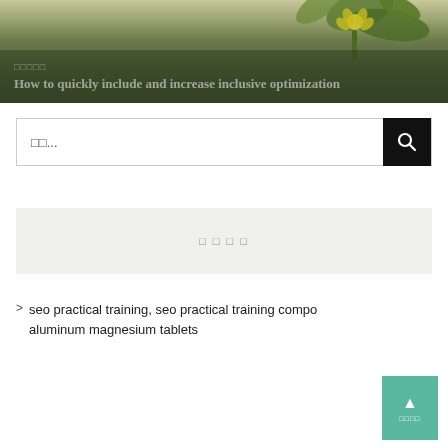[Figure (photo): Hero banner image with yellow flower against dark green/olive background. Overlaid text includes a short tag in a non-Latin script and the title 'How to quickly include and increase inclusive optimization' in white serif font.]
How to quickly include and increase inclusive optimization
검색...
최근 댓글
seo practical training, seo practical training compo... aluminum magnesium tablets